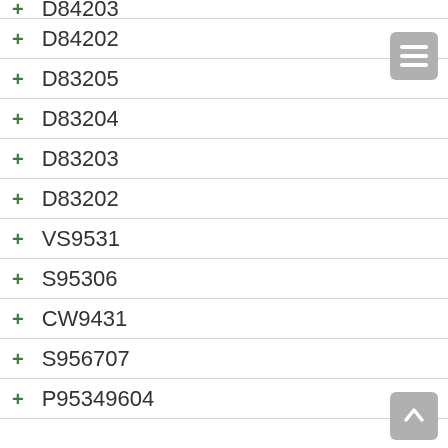D84203
D84202
D83205
D83204
D83203
D83202
VS9531
S95306
CW9431
S956707
P95349604